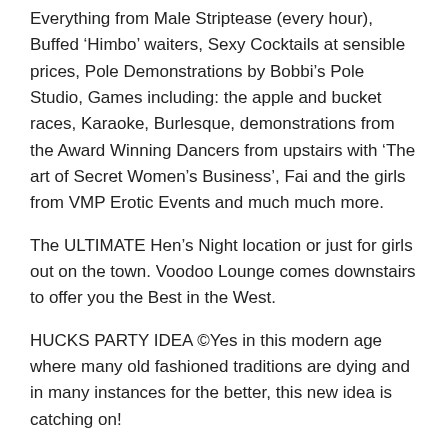Everything from Male Striptease (every hour), Buffed ‘Himbo’ waiters, Sexy Cocktails at sensible prices, Pole Demonstrations by Bobbi’s Pole Studio, Games including: the apple and bucket races, Karaoke, Burlesque, demonstrations from the Award Winning Dancers from upstairs with ‘The art of Secret Women’s Business’, Fai and the girls from VMP Erotic Events and much much more.
The ULTIMATE Hen’s Night location or just for girls out on the town. Voodoo Lounge comes downstairs to offer you the Best in the West.
HUCKS PARTY IDEA ©Yes in this modern age where many old fashioned traditions are dying and in many instances for the better, this new idea is catching on!
No more sweeps under the carpet or hush hush, wink wink say no more!
It was born out of the love, give and take and mutual respect